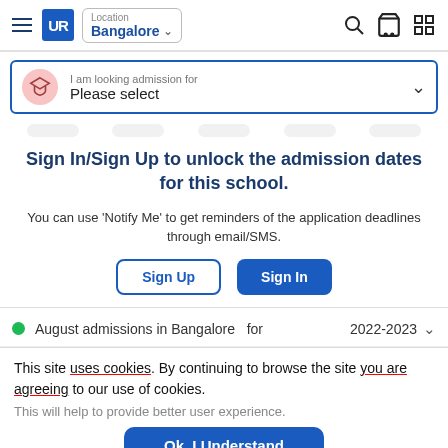UR | Location Bangalore
I am looking admission for Please select
Sign In/Sign Up to unlock the admission dates for this school.
You can use 'Notify Me' to get reminders of the application deadlines through email/SMS.
Sign Up   Sign In
August admissions in Bangalore  for    2022-2023
This site uses cookies. By continuing to browse the site you are agreeing to our use of cookies.
This will help to provide better user experience.
Ok, I Understand